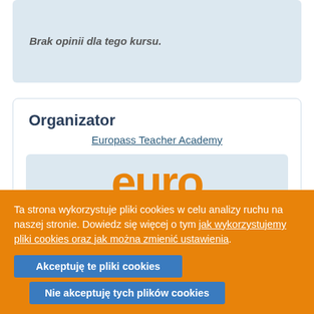Brak opinii dla tego kursu.
Organizator
Europass Teacher Academy
[Figure (logo): Partial logo showing orange text 'euro' on a light blue background]
Ta strona wykorzystuje pliki cookies w celu analizy ruchu na naszej stronie. Dowiedz się więcej o tym jak wykorzystujemy pliki cookies oraz jak można zmienić ustawienia.
Akceptuję te pliki cookies
Nie akceptuję tych plików cookies